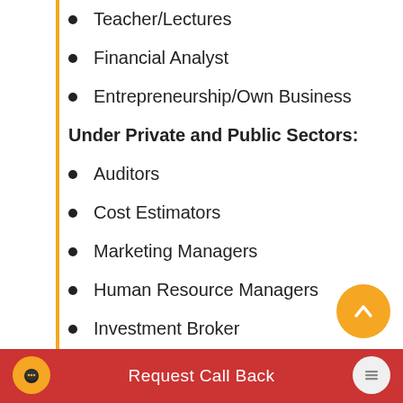Teacher/Lectures
Financial Analyst
Entrepreneurship/Own Business
Under Private and Public Sectors:
Auditors
Cost Estimators
Marketing Managers
Human Resource Managers
Investment Broker
Industrial Houses
Budget Planning
Request Call Back